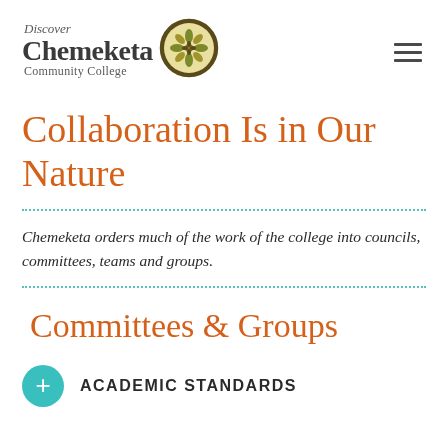[Figure (logo): Discover Chemeketa Community College logo with circular emblem featuring decorative botanical/cultural pattern in olive green and gold tones]
Collaboration Is in Our Nature
Chemeketa orders much of the work of the college into councils, committees, teams and groups.
Committees & Groups
ACADEMIC STANDARDS